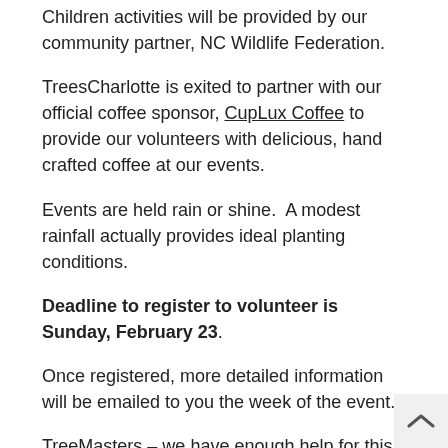Children activities will be provided by our community partner, NC Wildlife Federation.
TreesCharlotte is exited to partner with our official coffee sponsor, CupLux Coffee to provide our volunteers with delicious, hand crafted coffee at our events.
Events are held rain or shine.  A modest rainfall actually provides ideal planting conditions.
Deadline to register to volunteer is Sunday, February 23.
Once registered, more detailed information will be emailed to you the week of the event.
TreeMasters – we have enough help for this even consider registering for the Shuffletown event on t same day.